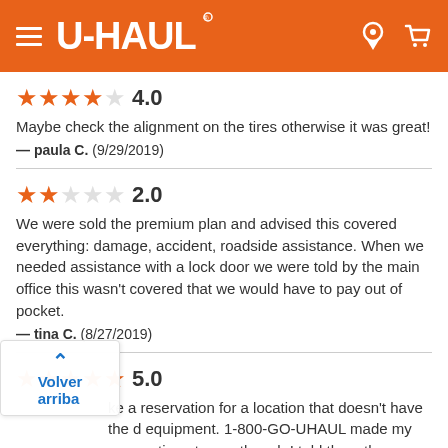U-HAUL
[Figure (other): 4.0 star rating — 4 filled stars, 1 empty star]
Maybe check the alignment on the tires otherwise it was great!
— paula C.  (9/29/2019)
[Figure (other): 2.0 star rating — 2 filled stars, 3 empty stars]
We were sold the premium plan and advised this covered everything: damage, accident, roadside assistance. When we needed assistance with a lock door we were told by the main office this wasn't covered that we would have to pay out of pocket.
— tina C.  (8/27/2019)
[Figure (other): 5.0 star rating — 5 filled stars]
ke a reservation for a location that doesn't have the d equipment. 1-800-GO-UHAUL made my reservation at even though I told them there was not a 26 ft truck at the Lavaca location. I was told there â€œprobablyâ€ would be one dropped off there the night before. The local U-Haul people were
Volver arriba